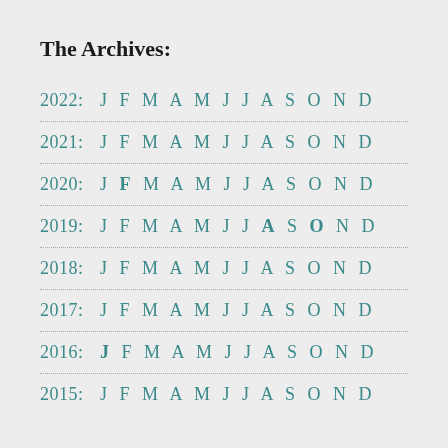The Archives:
2022: J F M A M J J A S O N D
2021: J F M A M J J A S O N D
2020: J F M A M J J A S O N D
2019: J F M A M J J A S O N D
2018: J F M A M J J A S O N D
2017: J F M A M J J A S O N D
2016: J F M A M J J A S O N D
2015: J F M A M J J A S O N D